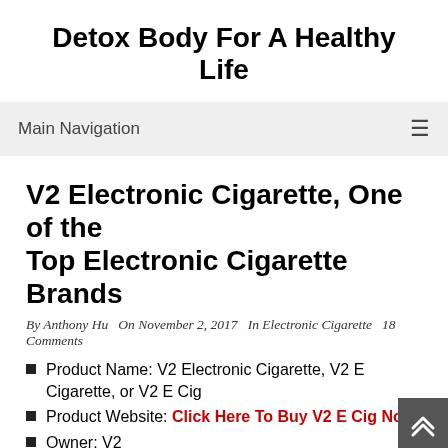Detox Body For A Healthy Life
Main Navigation
V2 Electronic Cigarette, One of the Top Electronic Cigarette Brands
By Anthony Hu  On November 2, 2017 In Electronic Cigarette 18 Comments
Product Name: V2 Electronic Cigarette, V2 E Cigarette, or V2 E Cig
Product Website: Click Here To Buy V2 E Cig Now!
Owner: V2
Overall Rank: 4.3 out of 5.0 Star
Introduction
We recommend that Nicocure, one of the top electronic cigarette brands and the best electronic cigarette, is the